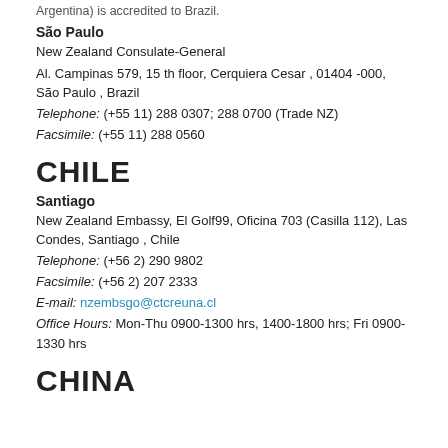Argentina) is accredited to Brazil.
São Paulo
New Zealand Consulate-General
Al. Campinas 579, 15 th floor, Cerquiera Cesar , 01404 -000, São Paulo , Brazil
Telephone: (+55 11) 288 0307; 288 0700 (Trade NZ)
Facsimile: (+55 11) 288 0560
CHILE
Santiago
New Zealand Embassy, El Golf99, Oficina 703 (Casilla 112), Las Condes, Santiago , Chile
Telephone: (+56 2) 290 9802
Facsimile: (+56 2) 207 2333
E-mail: nzembsgo@ctcreuna.cl
Office Hours: Mon-Thu 0900-1300 hrs, 1400-1800 hrs; Fri 0900-1330 hrs
CHINA